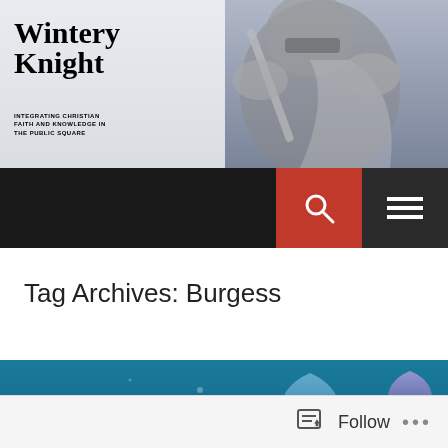Wintery Knight — Integrating Christian Faith and Knowledge in the Public Square
Tag Archives: Burgess
[Figure (illustration): Underwater scene with colorful Cambrian-era creatures including jellyfish, trilobite-like arthropods, and other marine organisms in a teal ocean environment]
Follow • • •